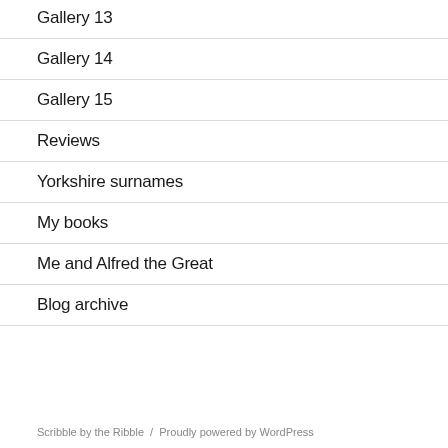Gallery 13
Gallery 14
Gallery 15
Reviews
Yorkshire surnames
My books
Me and Alfred the Great
Blog archive
Scribble by the Ribble  /  Proudly powered by WordPress